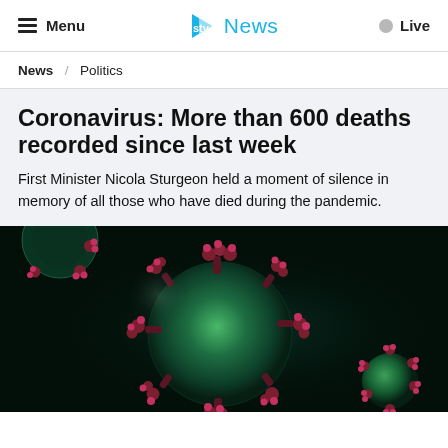Menu | STV News | Live
News / Politics
Coronavirus: More than 600 deaths recorded since last week
First Minister Nicola Sturgeon held a moment of silence in memory of all those who have died during the pandemic.
[Figure (photo): Close-up 3D render of a coronavirus particle against a dark background, showing spike proteins (crown-like protrusions) in green and purple/red tones.]